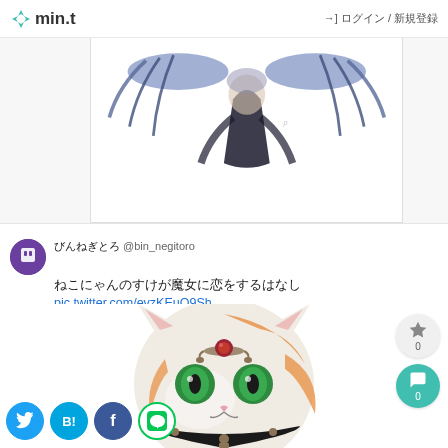min.t  →  ログイン / 新規登録
[Figure (illustration): Partial illustration of a fantasy character with dark wings/feathers and a dark costume, shown from above torso, on white background inside a bordered panel]
びんねぎとろ @bin_negitoro
ねこにゃんのすけが魔女に恋をするはなし pic.twitter.com/evzKEuQ9Sh
2019-09-27 03:06:18
[Figure (illustration): Digital illustration of a cat portrait with green eyes, wearing a dark jeweled collar and a red gemstone forehead ornament, calico coloring with orange, white patches]